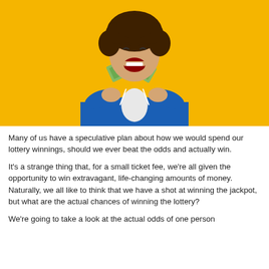[Figure (photo): A young man with curly hair wearing a blue hoodie, holding a fan of US dollar bills, laughing excitedly against a bright yellow/golden background.]
Many of us have a speculative plan about how we would spend our lottery winnings, should we ever beat the odds and actually win.
It's a strange thing that, for a small ticket fee, we're all given the opportunity to win extravagant, life-changing amounts of money. Naturally, we all like to think that we have a shot at winning the jackpot, but what are the actual chances of winning the lottery?
We're going to take a look at the actual odds of one person